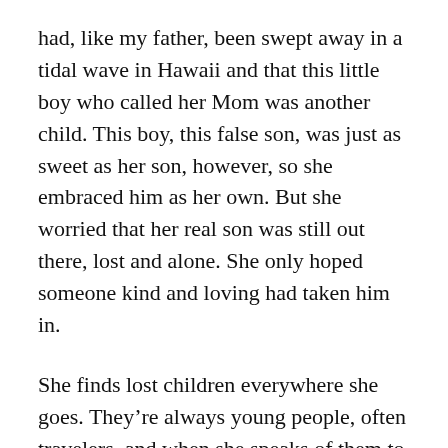had, like my father, been swept away in a tidal wave in Hawaii and that this little boy who called her Mom was another child. This boy, this false son, was just as sweet as her son, however, so she embraced him as her own. But she worried that her real son was still out there, lost and alone. She only hoped someone kind and loving had taken him in.
She finds lost children everywhere she goes. They’re always young people, often travelers, and when she speaks of them to me, it is to ask for my help in keeping an eye out in case they might need shelter or a surrogate family. “You can adopt each other!” she says sometimes. One of her more elaborate delusions involves an actual organization, the Arc of Anchorage, which in reality provides support for people with disabilities but which she...